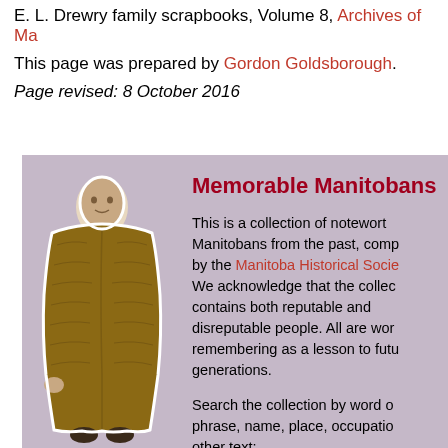E. L. Drewry family scrapbooks, Volume 8, Archives of Ma...
This page was prepared by Gordon Goldsborough.
Page revised: 8 October 2016
[Figure (photo): Black and white photo of a person wearing a long fur coat and holding a hat, standing facing forward.]
Memorable Manitobans
This is a collection of noteworthy Manitobans from the past, compiled by the Manitoba Historical Society. We acknowledge that the collection contains both reputable and disreputable people. All are worth remembering as a lesson to future generations.
Search the collection by word or phrase, name, place, occupation, or other text: